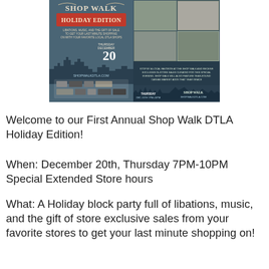[Figure (photo): Shop Walk DTLA Holiday Edition promotional flyer showing two panels: left panel with event title, date December 20, city skyline silhouette and sponsor logos; right panel with photo collage of shops and event details for Thursday Dec 20th 7PM-10PM at shopwalkdtla.com]
Welcome to our First Annual Shop Walk DTLA Holiday Edition!
When: December 20th, Thursday 7PM-10PM Special Extended Store hours
What: A Holiday block party full of libations, music, and the gift of store exclusive sales from your favorite stores to get your last minute shopping on!